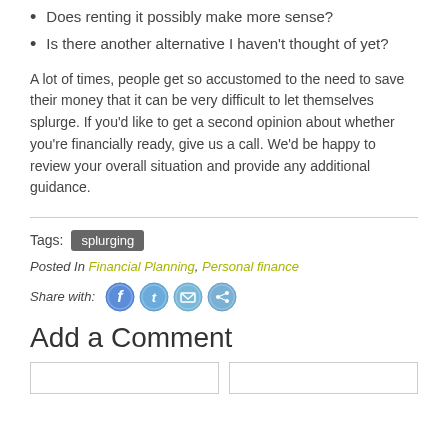Does renting it possibly make more sense?
Is there another alternative I haven't thought of yet?
A lot of times, people get so accustomed to the need to save their money that it can be very difficult to let themselves splurge. If you'd like to get a second opinion about whether you're financially ready, give us a call. We'd be happy to review your overall situation and provide any additional guidance.
Tags: splurging
Posted In Financial Planning, Personal finance
Share with:
Add a Comment